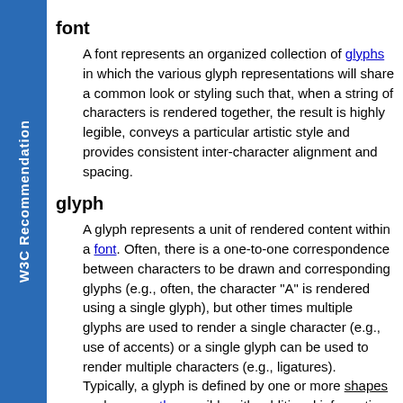W3C Recommendation
font
A font represents an organized collection of glyphs in which the various glyph representations will share a common look or styling such that, when a string of characters is rendered together, the result is highly legible, conveys a particular artistic style and provides consistent inter-character alignment and spacing.
glyph
A glyph represents a unit of rendered content within a font. Often, there is a one-to-one correspondence between characters to be drawn and corresponding glyphs (e.g., often, the character "A" is rendered using a single glyph), but other times multiple glyphs are used to render a single character (e.g., use of accents) or a single glyph can be used to render multiple characters (e.g., ligatures). Typically, a glyph is defined by one or more shapes such as a path, possibly with additional information such as rendering hints